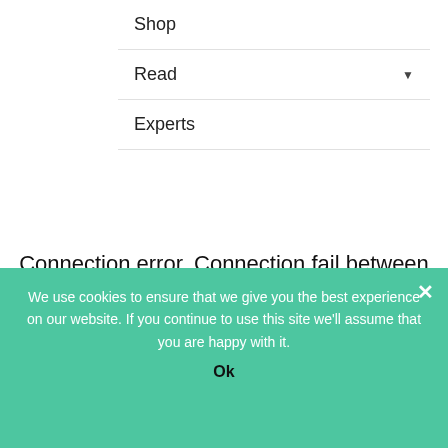Shop
Read ▼
Experts
Connection error. Connection fail between instagram and your server. Please try again
[Figure (logo): Circular logo on black background reading HEALTHY PEOPLE with stylized text below]
We use cookies to ensure that we give you the best experience on our website. If you continue to use this site we'll assume that you are happy with it.
Ok